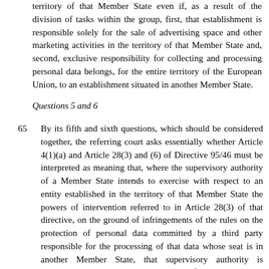territory of that Member State even if, as a result of the division of tasks within the group, first, that establishment is responsible solely for the sale of advertising space and other marketing activities in the territory of that Member State and, second, exclusive responsibility for collecting and processing personal data belongs, for the entire territory of the European Union, to an establishment situated in another Member State.
Questions 5 and 6
65   By its fifth and sixth questions, which should be considered together, the referring court asks essentially whether Article 4(1)(a) and Article 28(3) and (6) of Directive 95/46 must be interpreted as meaning that, where the supervisory authority of a Member State intends to exercise with respect to an entity established in the territory of that Member State the powers of intervention referred to in Article 28(3) of that directive, on the ground of infringements of the rules on the protection of personal data committed by a third party responsible for the processing of that data whose seat is in another Member State, that supervisory authority is competent to assess, independently of the supervisory authority of the other Member State, the lawfulness of such data processing and may exercise its powers of intervention with respect to the entity established in its territory without